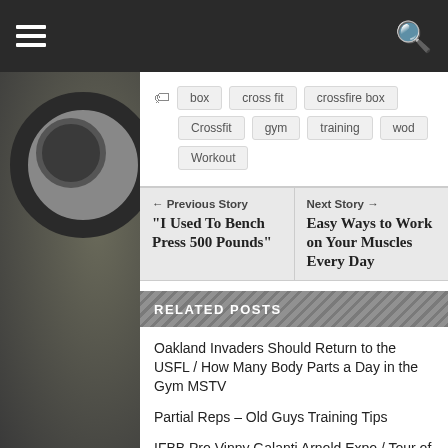box
cross fit
crossfire box
Crossfit
gym
training
wod
Workout
← Previous Story
"I Used To Bench Press 500 Pounds"
Next Story →
Easy Ways to Work on Your Muscles Every Day
RELATED POSTS
Oakland Invaders Should Return to the USFL / How Many Body Parts a Day in the Gym MSTV
Partial Reps – Old Guys Training Tips
IFBB Pro Vinny Galanti Arnold Expo / Tour of Pro-